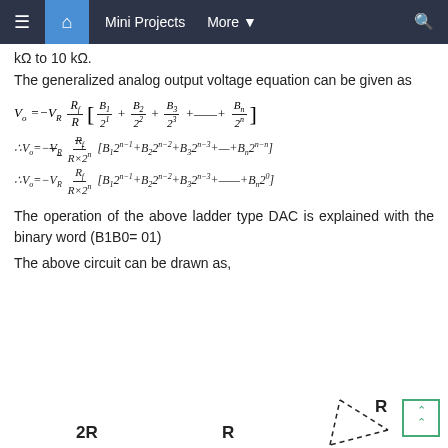Mini Projects  More
kΩ to 10 kΩ.
The generalized analog output voltage equation can be given as
The operation of the above ladder type DAC is explained with the binary word (B1B0= 01)
The above circuit can be drawn as,
[Figure (engineering-diagram): Partial circuit diagram showing resistors labeled 2R, R, R with dashed triangle symbol at bottom of page]